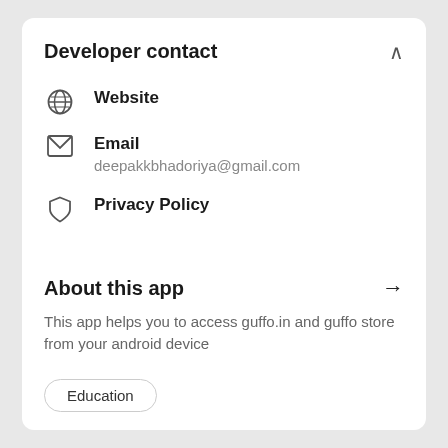Developer contact
Website
Email
deepakkbhadoriya@gmail.com
Privacy Policy
About this app
This app helps you to access guffo.in and guffo store from your android device
Education